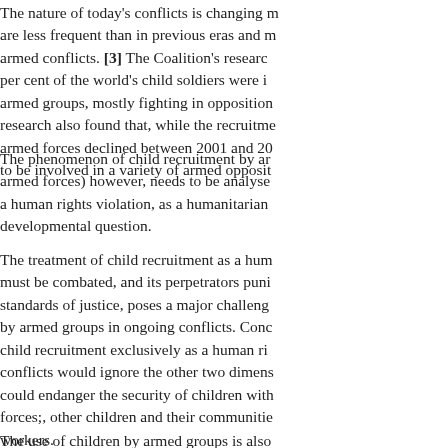The nature of today's conflicts is changing m... are less frequent than in previous eras and m... armed conflicts. [3] The Coalition's research per cent of the world's child soldiers were i... armed groups, mostly fighting in opposition... research also found that, while the recruitme... armed forces declined between 2001 and 20... to be involved in a variety of armed opposit...
The phenomenon of child recruitment by ar... armed forces) however, needs to be analyse... a human rights violation, as a humanitarian ... developmental question.
The treatment of child recruitment as a hum... must be combated, and its perpetrators puni... standards of justice, poses a major challenge... by armed groups in ongoing conflicts. Conc... child recruitment exclusively as a human ri... conflicts would ignore the other two dimens... could endanger the security of children with... forces;, other children and their communitie... workers.
The use of children by armed groups is also...